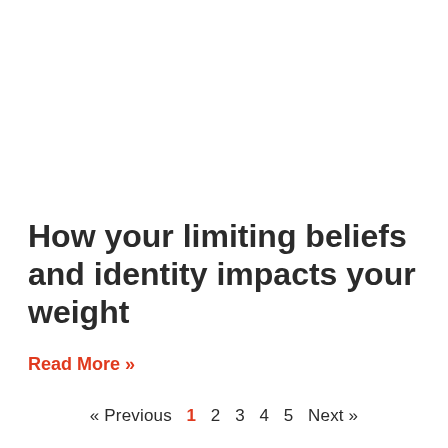How your limiting beliefs and identity impacts your weight
Read More »
« Previous  1  2  3  4  5  Next »